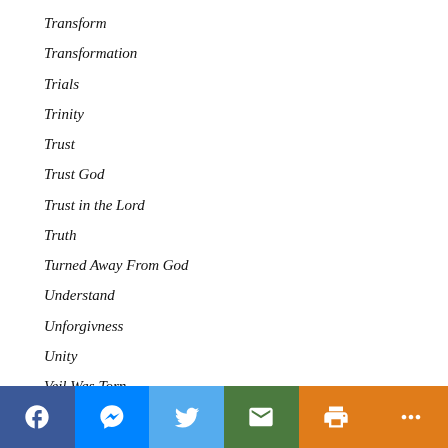Transform
Transformation
Trials
Trinity
Trust
Trust God
Trust in the Lord
Truth
Turned Away From God
Understand
Unforgivness
Unity
Veil Was Torn
Vengeance
Victory